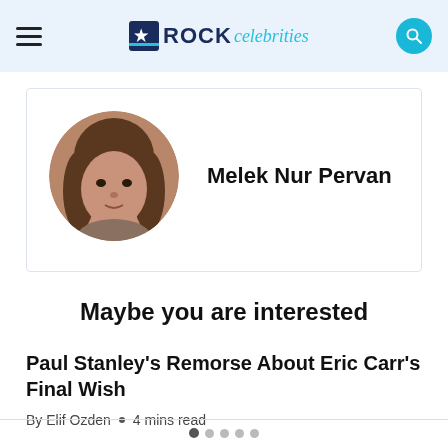ROCK celebrities
[Figure (photo): Circular profile photo of Melek Nur Pervan, a young woman with long brown hair]
Melek Nur Pervan
Maybe you are interested
Paul Stanley’s Remorse About Eric Carr’s Final Wish
By Elif Ozden · 4 mins read